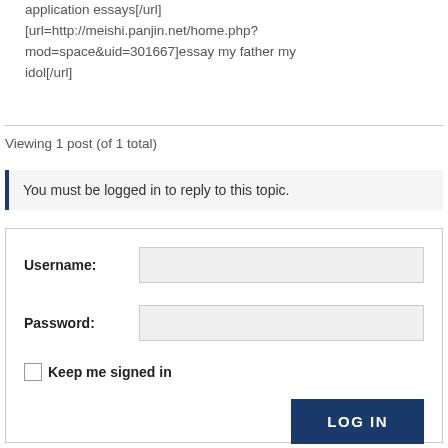application essays[/url] [url=http://meishi.panjin.net/home.php?mod=space&uid=301667]essay my father my idol[/url]
Viewing 1 post (of 1 total)
You must be logged in to reply to this topic.
Username:
Password:
Keep me signed in
LOG IN